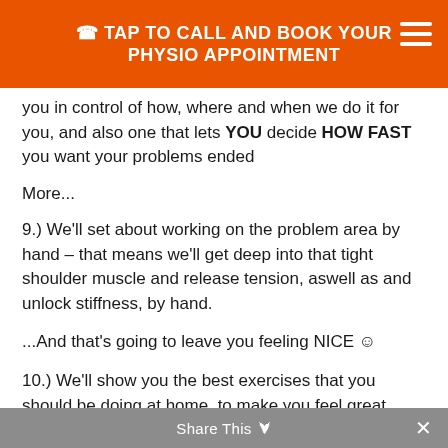TAP TO CALL AND BOOK YOUR PHYSIO APPOINTMENT
you in control of how, where and when we do it for you, and also one that lets YOU decide HOW FAST you want your problems ended
More...
9.) We'll set about working on the problem area by hand – that means we'll get deep into that tight shoulder muscle and release tension, aswell as and unlock stiffness, by hand.
...And that's going to leave you feeling NICE ☺
10.) We'll show you the best exercises that you should be doing at home, to make you feel great again, even quicker.
(That's if you want them...)
Share This